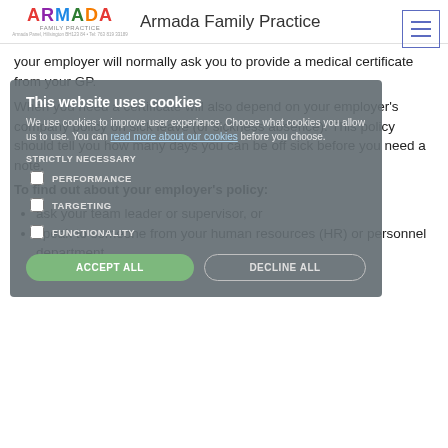Armada Family Practice
your employer will normally ask you to provide a medical certificate from your GP.
When you need a certificate will also depend on your employer's company policy on sick leave (or sickness absence). This policy should tell you how many days you can be off sick before you need a note.
To find out about your employer's policy:
ask your team leader or supervisor, or
speak to someone from your human resources (HR) or personnel department
This website uses cookies
We use cookies to improve user experience. Choose what cookies you allow us to use. You can read more about our cookies before you choose.
STRICTLY NECESSARY
PERFORMANCE
TARGETING
FUNCTIONALITY
ACCEPT ALL
DECLINE ALL